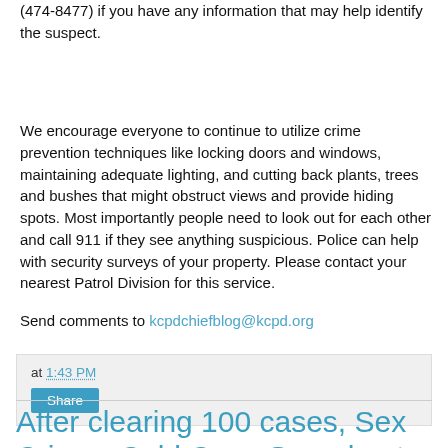(474-8477) if you have any information that may help identify the suspect.
We encourage everyone to continue to utilize crime prevention techniques like locking doors and windows, maintaining adequate lighting, and cutting back plants, trees and bushes that might obstruct views and provide hiding spots. Most importantly people need to look out for each other and call 911 if they see anything suspicious. Police can help with security surveys of your property. Please contact your nearest Patrol Division for this service.
Send comments to kcpdchiefblog@kcpd.org
at 1:43 PM
Share
After clearing 100 cases, Sex Crimes Cold Case Squad gets grant to continue